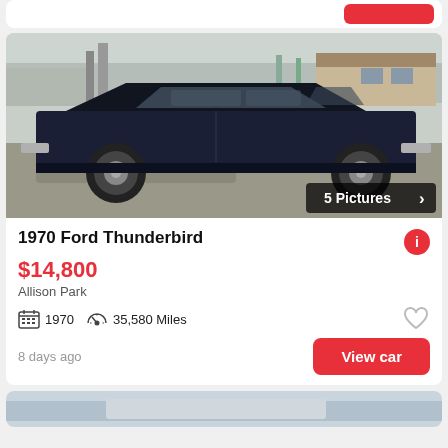[Figure (screenshot): Top of a previous car listing card, partially visible with a red button at top right]
[Figure (photo): 1970 Ford Thunderbird dark navy blue classic car parked on a gravel driveway in front of a house in winter. Badge overlay reads '5 Pictures' with a right arrow.]
1970 Ford Thunderbird
$14,800
Allison Park
1970
35,580 Miles
8 days ago
View car
[Figure (photo): Bottom of another car listing card, partially visible showing a light-colored car photo]